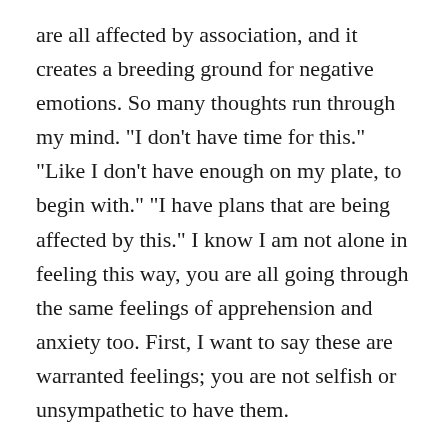are all affected by association, and it creates a breeding ground for negative emotions. So many thoughts run through my mind. "I don't have time for this." "Like I don't have enough on my plate, to begin with." "I have plans that are being affected by this." I know I am not alone in feeling this way, you are all going through the same feelings of apprehension and anxiety too. First, I want to say these are warranted feelings; you are not selfish or unsympathetic to have them.
I am a firm believer in the power of positivity, and these days I remind myself and those around me that there still are reasons to stay hopeful, and it does not mean being complacent or ignoring the situation at hand.